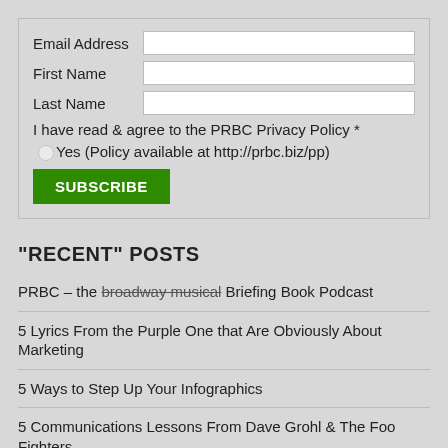Email Address [input field]
First Name [input field]
Last Name [input field]
I have read & agree to the PRBC Privacy Policy *
Yes (Policy available at http://prbc.biz/pp)
SUBSCRIBE
"RECENT" POSTS
PRBC – the broadway musical Briefing Book Podcast
5 Lyrics From the Purple One that Are Obviously About Marketing
5 Ways to Step Up Your Infographics
5 Communications Lessons From Dave Grohl & The Foo Fighters
5 Tips for Using Google Analytics to Improve Your Blog's Usability